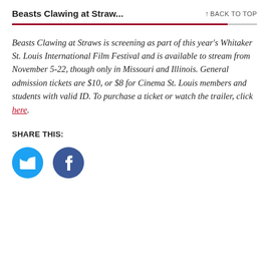Beasts Clawing at Straw...   ↑ BACK TO TOP
Beasts Clawing at Straws is screening as part of this year's Whitaker St. Louis International Film Festival and is available to stream from November 5-22, though only in Missouri and Illinois. General admission tickets are $10, or $8 for Cinema St. Louis members and students with valid ID. To purchase a ticket or watch the trailer, click here.
SHARE THIS:
[Figure (other): Twitter and Facebook social share buttons as circular icons]